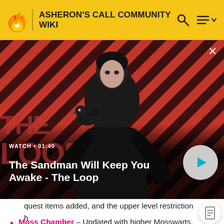ASHERON'S CALL COMMUNITY WIKI
[Figure (screenshot): Video thumbnail for 'The Sandman Will Keep You Awake - The Loop' with a dark figure wearing a cape and a raven on shoulder against a red diagonal striped background. Shows WATCH 01:40 label and a play button.]
quest items added, and the upper level restriction has been removed.
Moss Chamber – Updated with higher Mosswarts, quest items and a portal to the NPC room.